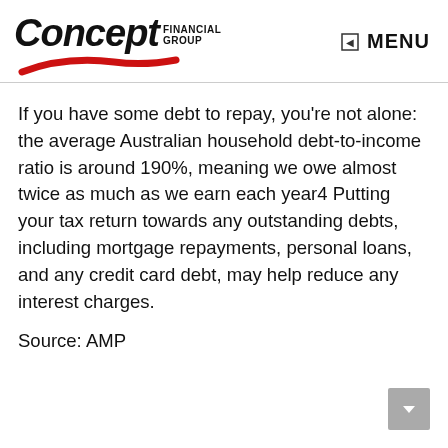Concept Financial Group — MENU
If you have some debt to repay, you're not alone: the average Australian household debt-to-income ratio is around 190%, meaning we owe almost twice as much as we earn each year4 Putting your tax return towards any outstanding debts, including mortgage repayments, personal loans, and any credit card debt, may help reduce any interest charges.
Source: AMP